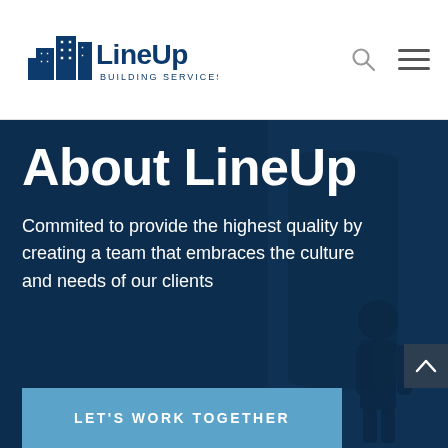[Figure (logo): LineUp Building Services logo with city building silhouette icon and text]
About LineUp
Commited to provide the highest quality by creating a team that embraces the culture and needs of our clients
LET'S WORK TOGETHER